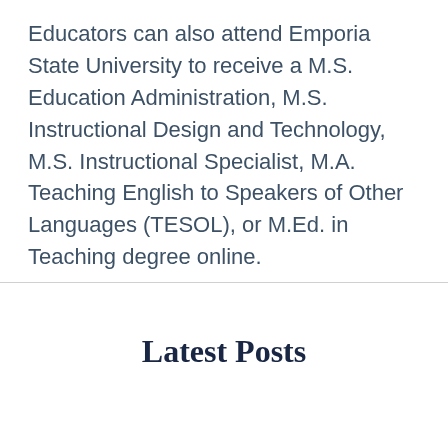Educators can also attend Emporia State University to receive a M.S. Education Administration, M.S. Instructional Design and Technology, M.S. Instructional Specialist, M.A. Teaching English to Speakers of Other Languages (TESOL), or M.Ed. in Teaching degree online.
Latest Posts